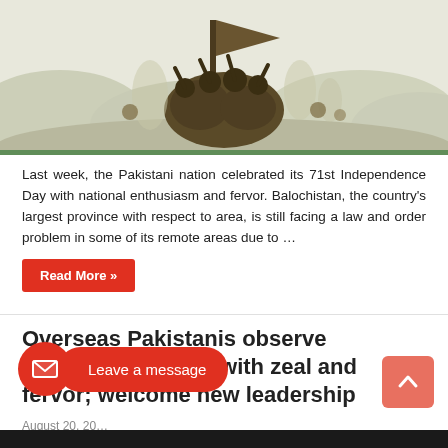[Figure (illustration): A stylized illustration of people celebrating or marching with flags against a muted olive/khaki landscape background, in earthy green and brown tones, representing Pakistan Independence Day.]
Last week, the Pakistani nation celebrated its 71st Independence Day with national enthusiasm and fervor. Balochistan, the country's largest province with respect to area, is still facing a law and order problem in some of its remote areas due to …
Read More »
Overseas Pakistanis observe independence day with zeal and fervor; welcome new leadership
August 20, 20…
[Figure (other): Leave a message floating widget with mail icon button and pill-shaped label, and a scroll-to-top button.]